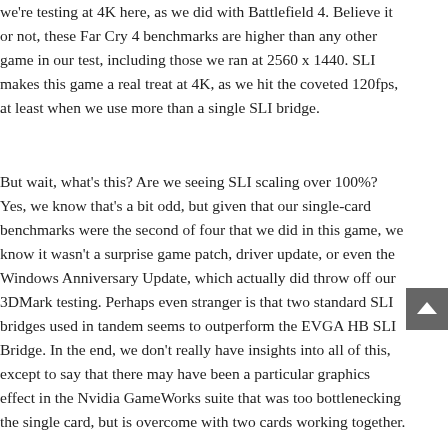we're testing at 4K here, as we did with Battlefield 4. Believe it or not, these Far Cry 4 benchmarks are higher than any other game in our test, including those we ran at 2560 x 1440. SLI makes this game a real treat at 4K, as we hit the coveted 120fps, at least when we use more than a single SLI bridge.
But wait, what's this? Are we seeing SLI scaling over 100%? Yes, we know that's a bit odd, but given that our single-card benchmarks were the second of four that we did in this game, we know it wasn't a surprise game patch, driver update, or even the Windows Anniversary Update, which actually did throw off our 3DMark testing. Perhaps even stranger is that two standard SLI bridges used in tandem seems to outperform the EVGA HB SLI Bridge. In the end, we don't really have insights into all of this, except to say that there may have been a particular graphics effect in the Nvidia GameWorks suite that was too bottlenecking the single card, but is overcome with two cards working together.